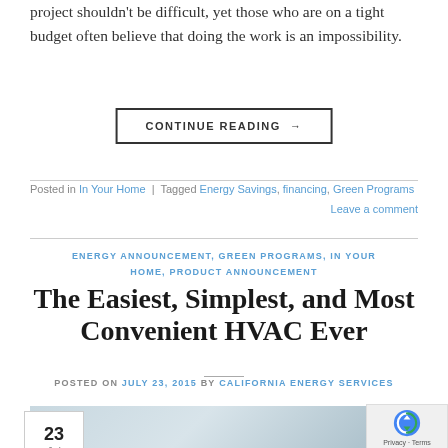project shouldn't be difficult, yet those who are on a tight budget often believe that doing the work is an impossibility.
CONTINUE READING →
Posted in In Your Home | Tagged Energy Savings, financing, Green Programs Leave a comment
ENERGY ANNOUNCEMENT, GREEN PROGRAMS, IN YOUR HOME, PRODUCT ANNOUNCEMENT
The Easiest, Simplest, and Most Convenient HVAC Ever
POSTED ON JULY 23, 2015 BY CALIFORNIA ENERGY SERVICES
[Figure (photo): HVAC related image, light blue/grey tones]
23 Jul